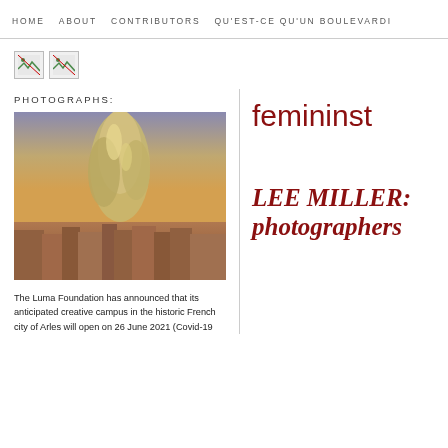HOME   ABOUT   CONTRIBUTORS   QU'EST-CE QU'UN BOULEVARD
[Figure (other): Two broken image placeholder icons]
PHOTOGRAPHS:
[Figure (photo): Photograph of the Luma Foundation building in Arles, a metallic sculptural tower rising above rooftops at dusk]
The Luma Foundation has announced that its anticipated creative campus in the historic French city of Arles will open on 26 June 2021 (Covid-19
femininst
LEE MILLER: photographers